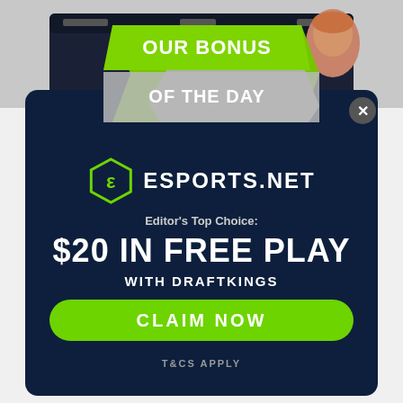[Figure (screenshot): Background screenshot of a dark website interface with a person visible in the top-right corner]
[Figure (infographic): Green and grey ribbon banner reading OUR BONUS OF THE DAY]
[Figure (logo): Esports.net hexagon logo with stylized E icon]
ESPORTS.NET
Editor's Top Choice:
$20 IN FREE PLAY
WITH DRAFTKINGS
CLAIM NOW
T&CS APPLY